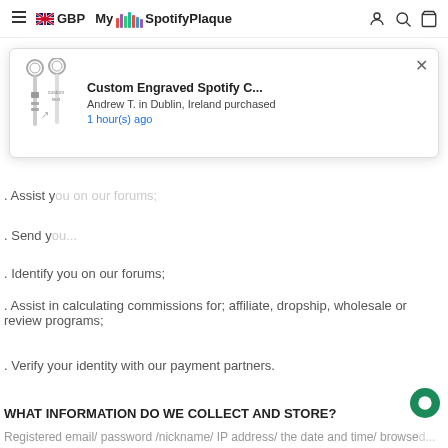GBP  My SpotifyPlaque
[Figure (screenshot): Popup notification showing keychains product image with title 'Custom Engraved Spotify C...', buyer 'Andrew T. in Dublin, Ireland purchased', time '1 hour(s) ago']
. Assist you on our forums;
. Send you...
. Identify you on our forums;
. Assist in calculating commissions for; affiliate, dropship, wholesale or review programs;
. Verify your identity with our payment partners.
WHAT INFORMATION DO WE COLLECT AND STORE?
Registered email/ password /nickname/ IP address/ the date and time/ browsed...